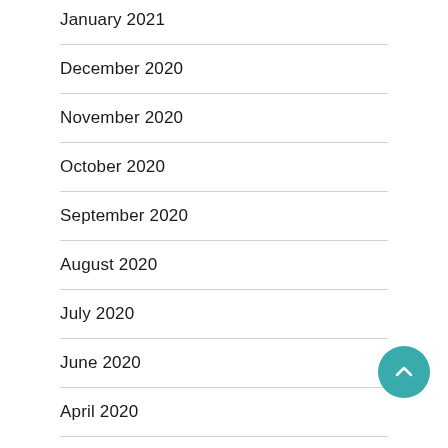January 2021
December 2020
November 2020
October 2020
September 2020
August 2020
July 2020
June 2020
April 2020
March 2020